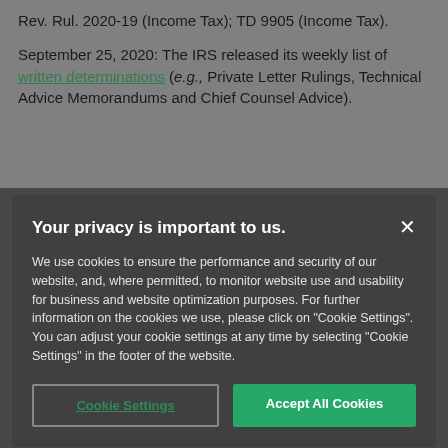Rev. Rul. 2020-19 (Income Tax); TD 9905 (Income Tax).
September 25, 2020: The IRS released its weekly list of written determinations (e.g., Private Letter Rulings, Technical Advice Memorandums and Chief Counsel Advice).
Your privacy is important to us.
We use cookies to ensure the performance and security of our website, and, where permitted, to monitor website use and usability for business and website optimization purposes. For further information on the cookies we use, please click on "Cookie Settings". You can adjust your cookie settings at any time by selecting "Cookie Settings" in the footer of the website.